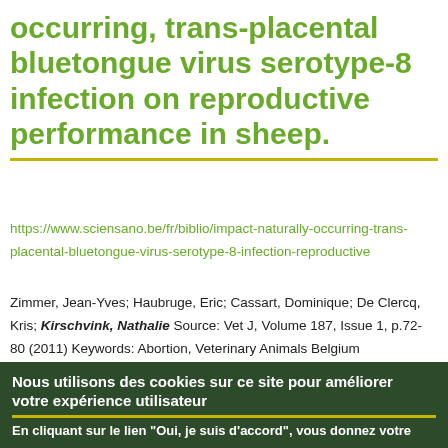occurring, trans-placental bluetongue virus serotype-8 infection on reproductive performance in sheep.
https://www.sciensano.be/fr/biblio/impact-naturally-occurring-trans-placental-bluetongue-virus-serotype-8-infection-reproductive
Zimmer, Jean-Yves; Haubruge, Eric; Cassart, Dominique; De Clercq, Kris; Kirschvink, Nathalie Source: Vet J, Volume 187, Issue 1, p.72-80 (2011) Keywords: Abortion, Veterinary Animals Belgium Bluetongue ...
The most likely time and place...
Nous utilisons des cookies sur ce site pour améliorer votre expérience utilisateur
En cliquant sur le lien "Oui, je suis d'accord", vous donnez votre